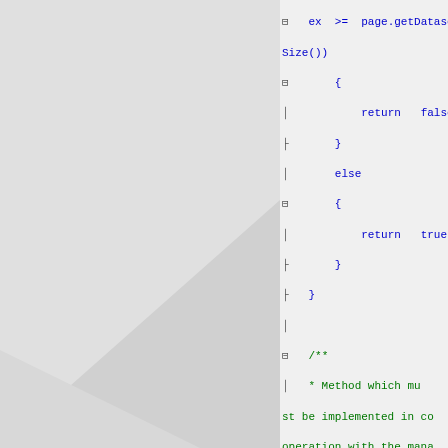[Figure (screenshot): Left panel showing a light gray background with a diagonal white/lighter triangular shape in the lower-left area.]
ex >= page.getDatasetSize())
{
    return false ;
}
else
{
    return true ;
}
}

/**
 * Method which must be implemented in cooperation with the managed bean
 * class to fetch data on demand.
 */
public abstract DataPage fetchPage( int